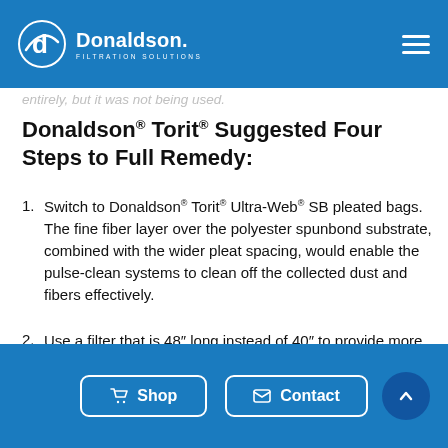Donaldson. FILTRATION SOLUTIONS
...entirely, but it was not being used.
Donaldson® Torit® Suggested Four Steps to Full Remedy:
Switch to Donaldson® Torit® Ultra-Web® SB pleated bags. The fine fiber layer over the polyester spunbond substrate, combined with the wider pleat spacing, would enable the pulse-clean systems to clean off the collected dust and fibers effectively.
Use a filter that is 48" long instead of 40" to provide more media area.
Use the variable frequency controller to save
Shop   Contact